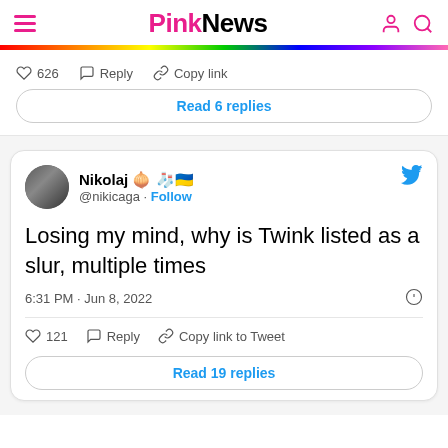PinkNews
♡ 626  Reply  Copy link
Read 6 replies
Nikolaj 🧅 🧦🇺🇦 @nikicaga · Follow
Losing my mind, why is Twink listed as a slur, multiple times
6:31 PM · Jun 8, 2022
♡ 121  Reply  Copy link to Tweet
Read 19 replies